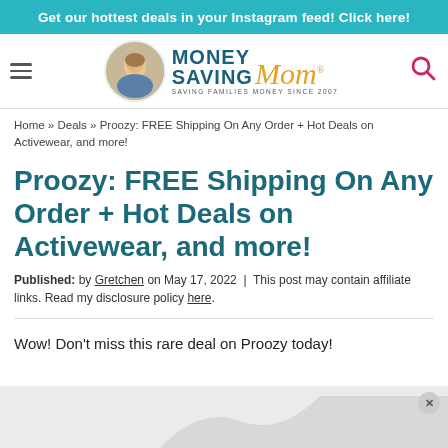Get our hottest deals in your Instagram feed! Click here!
[Figure (logo): Money Saving Mom logo with circular photo of woman and text 'MONEY SAVING Mom® SAVING FAMILIES MONEY SINCE 2007']
Home » Deals » Proozy: FREE Shipping On Any Order + Hot Deals on Activewear, and more!
Proozy: FREE Shipping On Any Order + Hot Deals on Activewear, and more!
Published: by Gretchen on May 17, 2022 | This post may contain affiliate links. Read my disclosure policy here.
Wow! Don't miss this rare deal on Proozy today!
[Figure (photo): Advertisement placeholder image at bottom of page with close button]